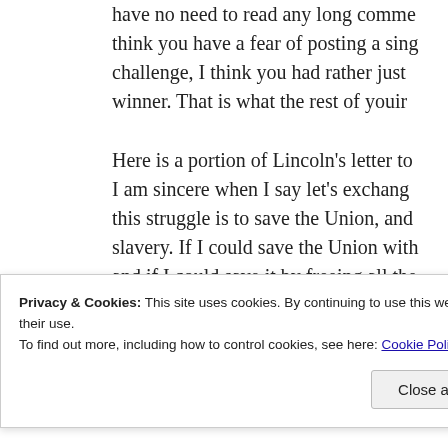have no need to read any long comme think you have a fear of posting a sing challenge, I think you had rather just winner. That is what the rest of yoir
Here is a portion of Lincoln's letter to I am sincere when I say let's exchang this struggle is to save the Union, and slavery. If I could save the Union with and if I could save it by freeing all the save it by freeing some and leaving o What I do about slavery, and the colo helps to save the Union; and what I fo believe it would help to save the Unic
Privacy & Cookies: This site uses cookies. By continuing to use this website, you agree to their use.
To find out more, including how to control cookies, see here: Cookie Policy